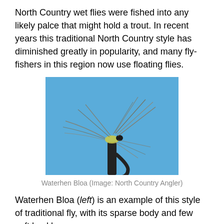North Country wet flies were fished into any likely palce that might hold a trout. In recent years this traditional North Country style has diminished greatly in popularity, and many fly-fishers in this region now use floating flies.
[Figure (photo): A Waterhen Bloa wet fly mounted on a hook against a blue sky background, showing sparse body and soft hackle fibers radiating outward.]
Waterhen Bloa (Image: North Country Angler)
Waterhen Bloa (left) is an example of this style of traditional fly, with its sparse body and few soft hackle